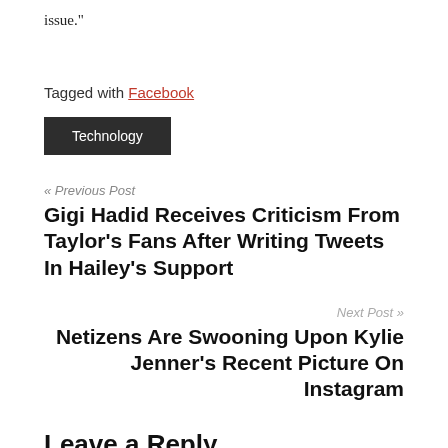issue."
Tagged with Facebook
Technology
« Previous Post
Gigi Hadid Receives Criticism From Taylor's Fans After Writing Tweets In Hailey's Support
Next Post »
Netizens Are Swooning Upon Kylie Jenner's Recent Picture On Instagram
Leave a Reply